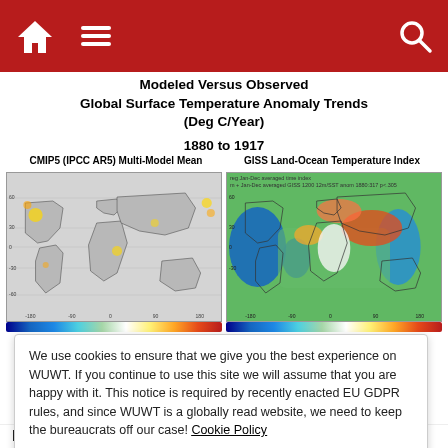Navigation bar with home, menu, and search icons
Modeled Versus Observed Global Surface Temperature Anomaly Trends (Deg C/Year)
1880 to 1917
CMIP5 (IPCC AR5) Multi-Model Mean   GISS Land-Ocean Temperature Index
[Figure (map): CMIP5 (IPCC AR5) Multi-Model Mean global surface temperature anomaly trend map for 1880 to 1917, mostly grey with scattered yellow and orange regions]
[Figure (map): GISS Land-Ocean Temperature Index global surface temperature anomaly trend map for 1880 to 1917, showing colorful pattern of blue, green, orange, and red regions]
We use cookies to ensure that we give you the best experience on WUWT. If you continue to use this site we will assume that you are happy with it. This notice is required by recently enacted EU GDPR rules, and since WUWT is a globally read website, we need to keep the bureaucrats off our case! Cookie Policy
Close and accept
land and ocean trends would not have been as great. That